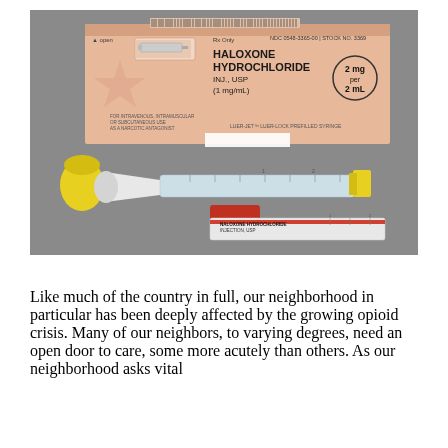[Figure (photo): Photograph of Naloxone Hydrochloride injection USP (1 mg/mL) product: a peach-colored box labeled 'HALOXONE HYDROCHLORIDE INJ., USP (1 mg/mL)', Rx Only, NDC 0548-3365-00, STOCK NO. 3369, 2 mg per 2 mL, Luer-Jet Luer-Lock Prefilled Syringe. In front of the box is a prefilled syringe with a white nasal adapter cap and yellow plunger cap, plus a small vial labeled 'NALOXONE HYDROCHLORIDE INJECTION, USP' with a red cap.]
Like much of the country in full, our neighborhood in particular has been deeply affected by the growing opioid crisis. Many of our neighbors, to varying degrees, need an open door to care, some more acutely than others. As our neighborhood asks vital